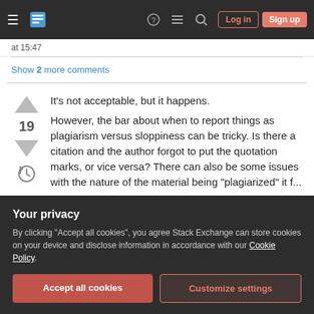Stack Exchange navigation bar with Log in and Sign up buttons
at 15:47
Show 2 more comments
It's not acceptable, but it happens.
However, the bar about when to report things as plagiarism versus sloppiness can be tricky. Is there a citation and the author forgot to put the quotation marks, or vice versa? There can also be some issues with the nature of the material being "plagiarized" it f...
Your privacy
By clicking "Accept all cookies", you agree Stack Exchange can store cookies on your device and disclose information in accordance with our Cookie Policy.
Accept all cookies
Customize settings